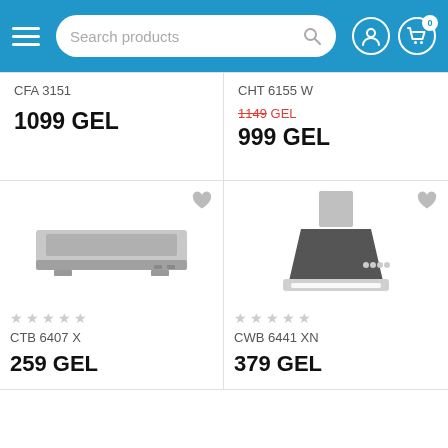Search products | navigation header
CFA 3151
1099 GEL
CHT 6155 W
1149 GEL (crossed out) 999 GEL
[Figure (photo): CTB 6407 X - flat/telescopic kitchen range hood, stainless steel, side view]
CTB 6407 X
259 GEL
[Figure (photo): CWB 6441 XN - chimney style kitchen range hood, stainless steel with dark glass canopy]
CWB 6441 XN
379 GEL